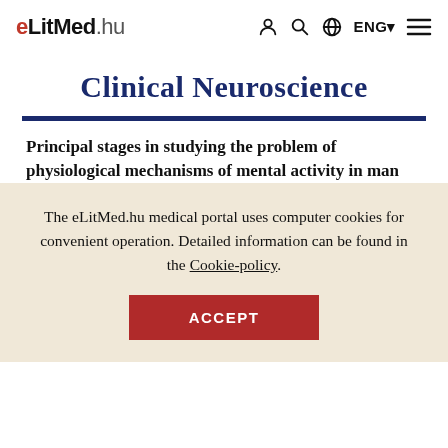eLitMed.hu  [icons: person, search, globe, ENG, menu]
Clinical Neuroscience
Principal stages in studying the problem of physiological mechanisms of mental activity in man
The eLitMed.hu medical portal uses computer cookies for convenient operation. Detailed information can be found in the Cookie-policy.
ACCEPT